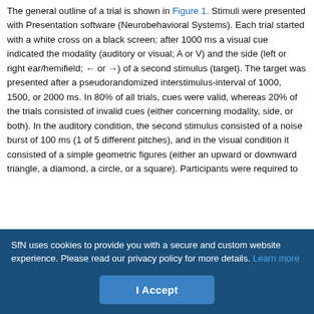The general outline of a trial is shown in Figure 1. Stimuli were presented with Presentation software (Neurobehavioral Systems). Each trial started with a white cross on a black screen; after 1000 ms a visual cue indicated the modality (auditory or visual; A or V) and the side (left or right ear/hemifield; ← or →) of a second stimulus (target). The target was presented after a pseudorandomized interstimulus-interval of 1000, 1500, or 2000 ms. In 80% of all trials, cues were valid, whereas 20% of the trials consisted of invalid cues (either concerning modality, side, or both). In the auditory condition, the second stimulus consisted of a noise burst of 100 ms (1 of 5 different pitches), and in the visual condition it consisted of a simple geometric figures (either an upward or downward triangle, a diamond, a circle, or a square). Participants were required to
SfN uses cookies to provide you with a secure and custom website experience. Please read our privacy policy for more details. Learn more
I Accept